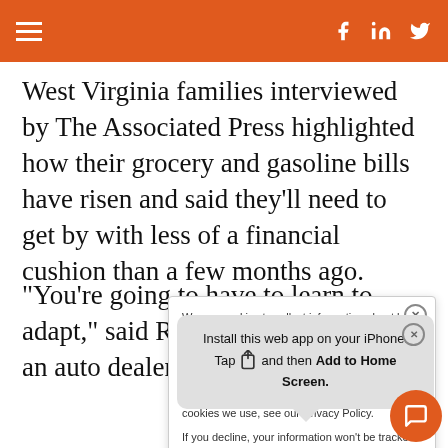navigation bar with hamburger menu and social icons (Facebook, LinkedIn, Twitter)
West Virginia families interviewed by The Associated Press highlighted how their grocery and gasoline bills have risen and said they’ll need to get by with less of a financial cushion than a few months ago.
“You’re going to have to learn to adapt,” said Roberts, who worked as an auto dealer for five
We use cookies to collect information about how you interact with our website. We use this information in order to improve and customize your browsing experience and for analytics and metrics about our visitors both on this website and other media. To find out more about the cookies we use, see our Privacy Policy.

If you decline, your information won’t be tracked
Install this web app on your iPhone. Tap and then Add to Home Screen.